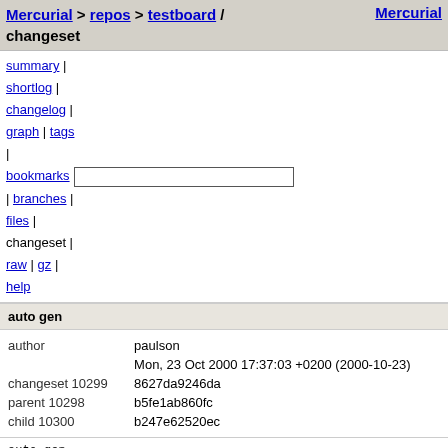Mercurial > repos > testboard / changeset   Mercurial
summary |
shortlog |
changelog |
graph | tags
| bookmarks | branches | files | changeset | raw | gz | help
auto gen
|  |  |
| --- | --- |
| author | paulson |
|  | Mon, 23 Oct 2000 17:37:03 +0200 (2000-10-23) |
| changeset 10299 | 8627da9246da |
| parent 10298 | b5fe1ab860fc |
| child 10300 | b247e62520ec |
auto gen
doc-src/TutorialI/Inductive/document/AB.tex    file | annotate | diff | comparison | revisions